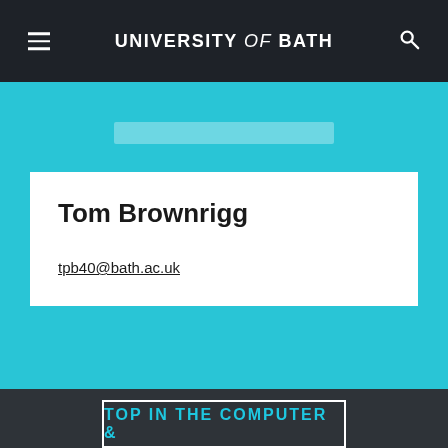UNIVERSITY of BATH
Tom Brownrigg
tpb40@bath.ac.uk